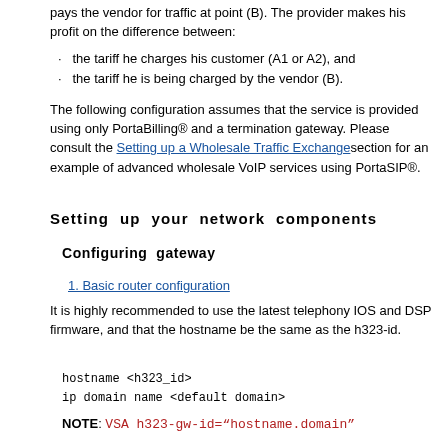pays the vendor for traffic at point (B). The provider makes his profit on the difference between:
the tariff he charges his customer (A1 or A2), and
the tariff he is being charged by the vendor (B).
The following configuration assumes that the service is provided using only PortaBilling® and a termination gateway. Please consult the Setting up a Wholesale Traffic Exchange section for an example of advanced wholesale VoIP services using PortaSIP®.
Setting up your network components
Configuring gateway
1. Basic router configuration
It is highly recommended to use the latest telephony IOS and DSP firmware, and that the hostname be the same as the h323-id.
hostname <h323_id>
ip domain name <default domain>
NOTE: VSA h323-gw-id="hostname.domain"